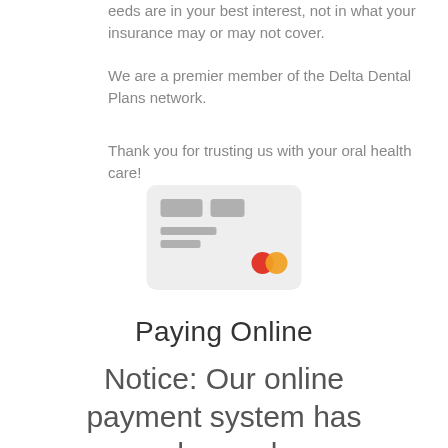…eeds are in your best interest, not in what your insurance may or may not cover.
We are a premier member of the Delta Dental Plans network.
Thank you for trusting us with your oral health care!
[Figure (illustration): Credit card illustration with gray placeholder lines and Mastercard-style overlapping red and yellow circles]
Paying Online
Notice: Our online payment system has changed.